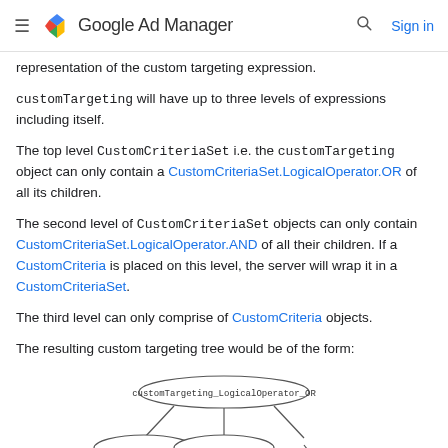Google Ad Manager
representation of the custom targeting expression.
customTargeting will have up to three levels of expressions including itself.
The top level CustomCriteriaSet i.e. the customTargeting object can only contain a CustomCriteriaSet.LogicalOperator.OR of all its children.
The second level of CustomCriteriaSet objects can only contain CustomCriteriaSet.LogicalOperator.AND of all their children. If a CustomCriteria is placed on this level, the server will wrap it in a CustomCriteriaSet.
The third level can only comprise of CustomCriteria objects.
The resulting custom targeting tree would be of the form:
[Figure (flowchart): A tree diagram showing customTargeting_LogicalOperator_OR at the top with branches going down to child nodes]